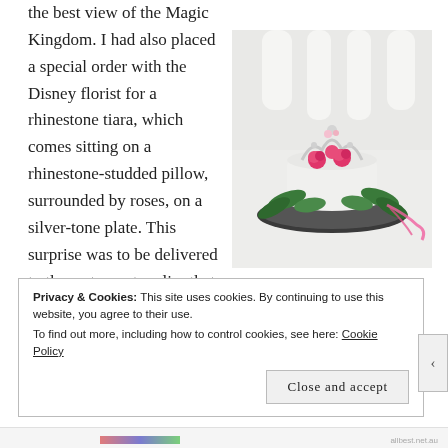the best view of the Magic Kingdom. I had also placed a special order with the Disney florist for a rhinestone tiara, which comes sitting on a rhinestone-studded pillow, surrounded by roses, on a silver-tone plate. This surprise was to be delivered to the restaurant earlier that day and placed on our table
[Figure (photo): A white tiara/crown decorated with pink roses and green foliage, sitting on a dark silver-tone plate on a white surface, with a pink ribbon nearby.]
Privacy & Cookies: This site uses cookies. By continuing to use this website, you agree to their use. To find out more, including how to control cookies, see here: Cookie Policy
Close and accept